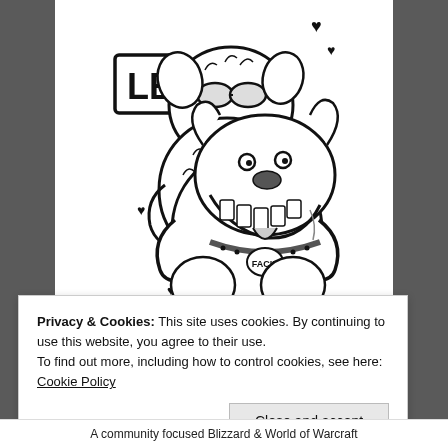[Figure (illustration): Black and white hand-drawn illustration of two cartoon dogs (a fluffy dog wearing goggles hugging a muscular bulldog-type creature with large teeth and a collar tag reading 'FACIE'), surrounded by small heart symbols and a sign reading 'LB' in the top left.]
Privacy & Cookies: This site uses cookies. By continuing to use this website, you agree to their use.
To find out more, including how to control cookies, see here: Cookie Policy
Close and accept
A community focused Blizzard & World of Warcraft